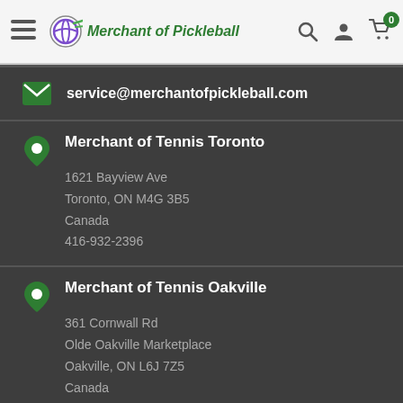Merchant of Pickleball
service@merchantofpickleball.com
Merchant of Tennis Toronto
1621 Bayview Ave
Toronto, ON M4G 3B5
Canada
416-932-2396
Merchant of Tennis Oakville
361 Cornwall Rd
Olde Oakville Marketplace
Oakville, ON L6J 7Z5
Canada
905-337-1294
Current Store Hours